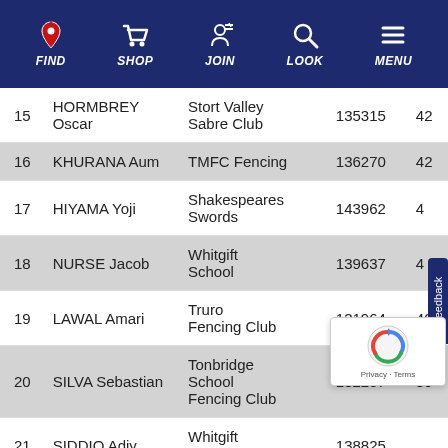FIND | SHOP | JOIN | LOOK | MENU
| # | Name | Club | ID | Score |
| --- | --- | --- | --- | --- |
| 15 | HORMBREY Oscar | Stort Valley Sabre Club | 135315 | 42 |
| 16 | KHURANA Aum | TMFC Fencing | 136270 | 42 |
| 17 | HIYAMA Yoji | Shakespeares Swords | 143962 | 4 |
| 18 | NURSE Jacob | Whitgift School | 139637 | 4 |
| 19 | LAWAL Amari | Truro Fencing Club | 131964 | 40 |
| 20 | SILVA Sebastian | Tonbridge School Fencing Club | 132207 | 39 |
| 21 | SIDDIQ Adiy | Whitgift School | 138825 |  |